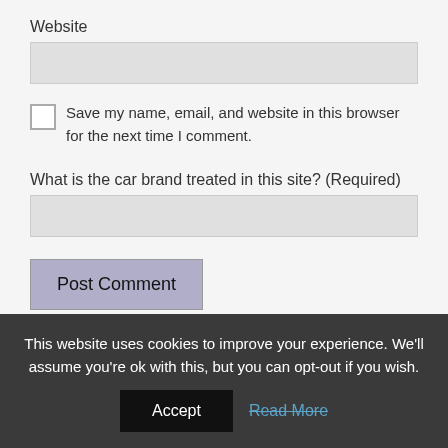Website
[Figure (screenshot): Empty text input field for Website]
[Figure (screenshot): Unchecked checkbox]
Save my name, email, and website in this browser for the next time I comment.
What is the car brand treated in this site? (Required)
[Figure (screenshot): Empty text input field for security question answer]
Post Comment
Back to top
This website uses cookies to improve your experience. We'll assume you're ok with this, but you can opt-out if you wish.
Accept
Read More